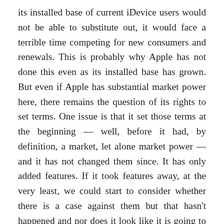its installed base of current iDevice users would not be able to substitute out, it would face a terrible time competing for new consumers and renewals. This is probably why Apple has not done this even as its installed base has grown. But even if Apple has substantial market power here, there remains the question of its rights to set terms. One issue is that it set those terms at the beginning — well, before it had, by definition, a market, let alone market power — and it has not changed them since. It has only added features. If it took features away, at the very least, we could start to consider whether there is a case against them but that hasn't happened and nor does it look like it is going to happen.